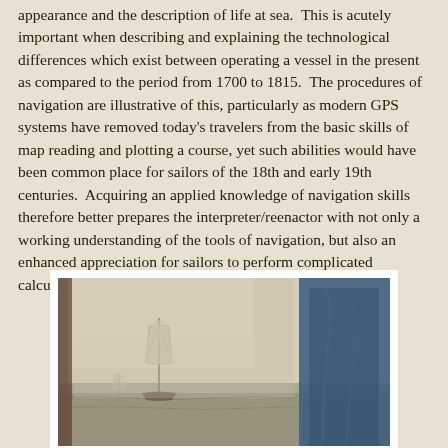appearance and the description of life at sea.  This is acutely important when describing and explaining the technological differences which exist between operating a vessel in the present as compared to the period from 1700 to 1815.  The procedures of navigation are illustrative of this, particularly as modern GPS systems have removed today's travelers from the basic skills of map reading and plotting a course, yet such abilities would have been common place for sailors of the 18th and early 19th centuries.  Acquiring an applied knowledge of navigation skills therefore better prepares the interpreter/reenactor with not only a working understanding of the tools of navigation, but also an enhanced appreciation for sailors to perform complicated calculations without the benefit of electronic devices.
[Figure (photo): A painting depicting a sailing ship at sea, with misty/foggy atmosphere. A large figure in a blue coat is partially visible on the right side. The scene shows an old sailing vessel on calm water with a pale sky.]